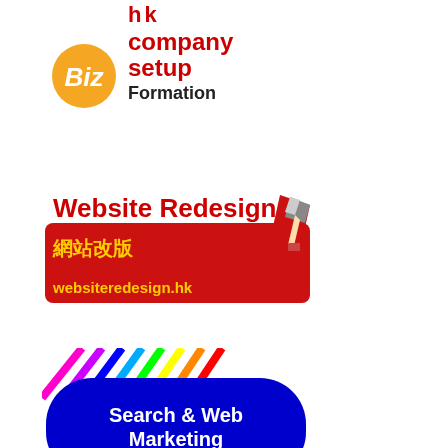[Figure (logo): HK Company Setup BizFormation logo with orange circle containing Biz in white, red bold text hk company setup, and black Formation text]
[Figure (logo): Website Redesign 網站改版 logo with red bold heading, Chinese characters in yellow on red banner, URL websiteredesign.hk in yellow, red pencil graphic]
[Figure (logo): Search & Web Marketing logo with colorful diagonal lines and blue oval shape containing white text Search & Web Marketing and light blue hkwebdesign.net URL]